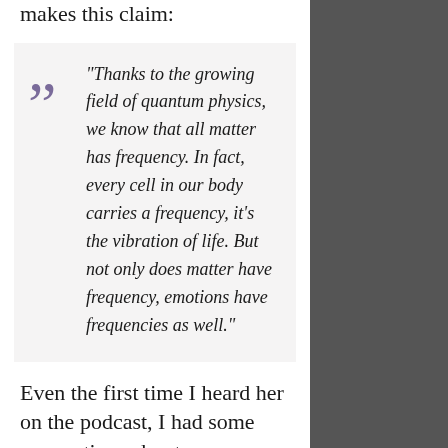makes this claim:
“Thanks to the growing field of quantum physics, we know that all matter has frequency. In fact, every cell in our body carries a frequency, it’s the vibration of life. But not only does matter have frequency, emotions have frequencies as well.”
Even the first time I heard her on the podcast, I had some reservations about